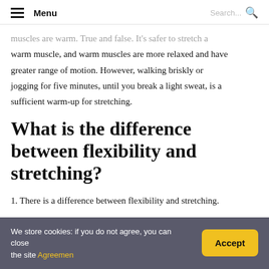Menu | Search...
muscles are warm. True and false. It's safer to stretch a warm muscle, and warm muscles are more relaxed and have greater range of motion. However, walking briskly or jogging for five minutes, until you break a light sweat, is a sufficient warm-up for stretching.
What is the difference between flexibility and stretching?
1. There is a difference between flexibility and stretching.
We store cookies: if you do not agree, you can close the site Agreemen | Accept